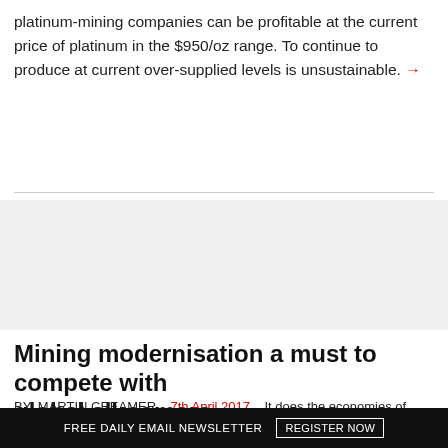platinum-mining companies can be profitable at the current price of platinum in the $950/oz range. To continue to produce at current over-supplied levels is unsustainable. →
Mining modernisation a must to compete with global all-comers
BY: MARTIN CREAMER    7th April 2017    It does the economies of serious harm when government departments go off at admi... e Department of Mineral Resources (DMR) i... is a serious deviation from what was the cas...
Subscribe Now
FREE DAILY EMAIL NEWSLETTER    REGISTER NOW